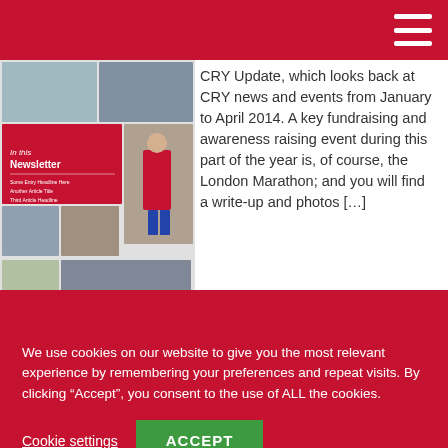[Figure (photo): CRY newsletter cover thumbnail showing collage of photos including runners, group photos, and a marathon runner in red, with 'In this Newsletter' text overlay on red panel]
CRY Update, which looks back at CRY news and events from January to April 2014. A key fundraising and awareness raising event during this part of the year is, of course, the London Marathon; and you will find a write-up and photos [...]
CRY Update Magazine 58
We use cookies on our website to give you the most relevant experience by remembering your preferences and repeat visits. By clicking “Accept”, you consent to the use of ALL the cookies.
Cookie settings
ACCEPT